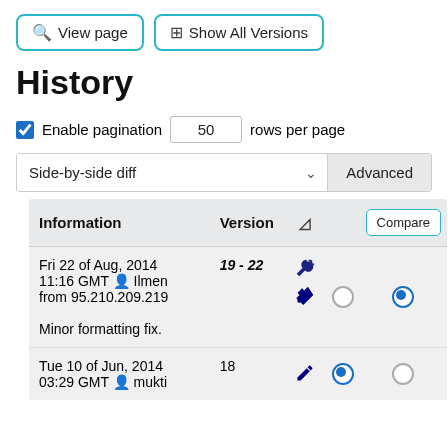[Figure (screenshot): Two buttons: 'View page' with zoom/search icon, and 'Show All Versions' with plus icon, both with teal border]
History
Enable pagination  50  rows per page
Side-by-side diff  Advanced
| Information | Version | ♥ |  | Compare |
| --- | --- | --- | --- | --- |
| Fri 22 of Aug, 2014 11:16 GMT 👤 Ilmen from 95.210.209.219
Minor formatting fix. | 19 - 22 | 🔧 | ○ | ● |
| Tue 10 of Jun, 2014 03:29 GMT 👤 mukti | 18 | 🔧 | ● | ○ |